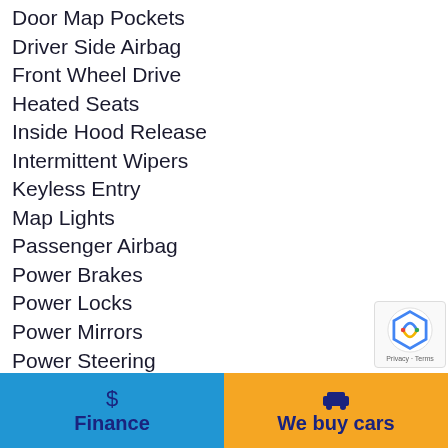Door Map Pockets
Driver Side Airbag
Front Wheel Drive
Heated Seats
Inside Hood Release
Intermittent Wipers
Keyless Entry
Map Lights
Passenger Airbag
Power Brakes
Power Locks
Power Mirrors
Power Steering
Power Sunroof
Power Windows
Power-Assist Disc Brakes
Rain Sensor Wipers
$ Finance | We buy cars